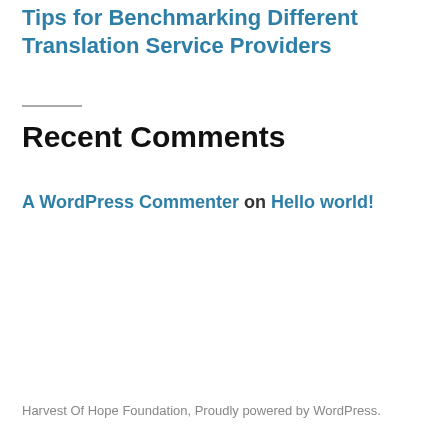Tips for Benchmarking Different Translation Service Providers
Recent Comments
A WordPress Commenter on Hello world!
Harvest Of Hope Foundation, Proudly powered by WordPress.